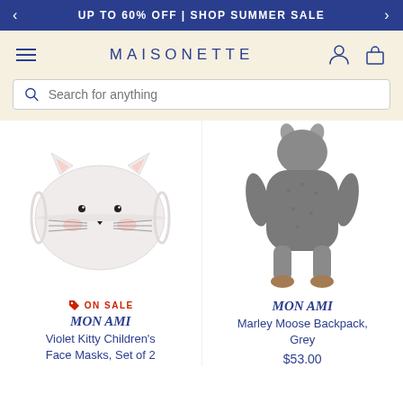UP TO 60% OFF | SHOP SUMMER SALE
MAISONETTE
Search for anything
[Figure (photo): White cat face mask for children with pink cheeks, whiskers, and cat ears]
[Figure (photo): Grey fluffy Marley Moose backpack stuffed animal, seen from the back with dangling legs]
ON SALE
MON AMI
Violet Kitty Children's Face Masks, Set of 2
MON AMI
Marley Moose Backpack, Grey
$53.00